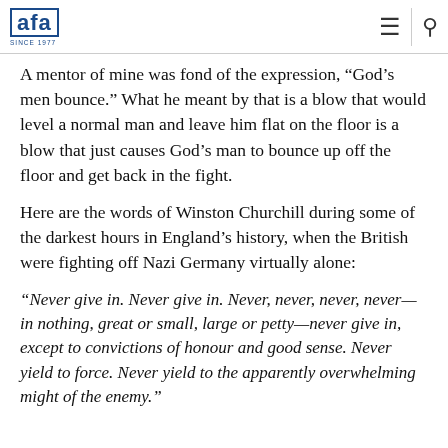AFA (logo) — since 1977 — hamburger menu and search icons
A mentor of mine was fond of the expression, “God’s men bounce.” What he meant by that is a blow that would level a normal man and leave him flat on the floor is a blow that just causes God’s man to bounce up off the floor and get back in the fight.
Here are the words of Winston Churchill during some of the darkest hours in England’s history, when the British were fighting off Nazi Germany virtually alone:
“Never give in. Never give in. Never, never, never, never—in nothing, great or small, large or petty—never give in, except to convictions of honour and good sense. Never yield to force. Never yield to the apparently overwhelming might of the enemy.”